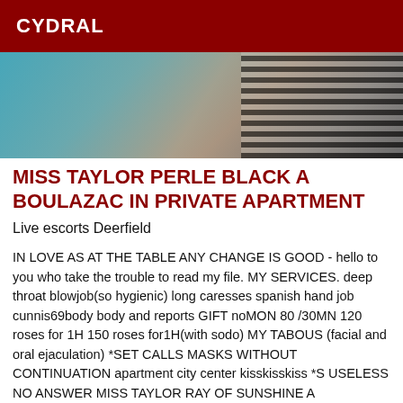CYDRAL
[Figure (photo): Close-up photo of a person's hand/arm near what appears to be a tiled surface with striped pattern on the right side]
MISS TAYLOR PERLE BLACK A BOULAZAC IN PRIVATE APARTMENT
Live escorts Deerfield
IN LOVE AS AT THE TABLE ANY CHANGE IS GOOD - hello to you who take the trouble to read my file. MY SERVICES. deep throat blowjob(so hygienic) long caresses spanish hand job cunnis69body body and reports GIFT noMON 80 /30MN 120 roses for 1H 150 roses for1H(with sodo) MY TABOUS (facial and oral ejaculation) *SET CALLS MASKS WITHOUT CONTINUATION apartment city center kisskisskiss *S USELESS NO ANSWER MISS TAYLOR RAY OF SUNSHINE A DEERFIELD Charm, elegance, sensuality for you. Gentlemen OVER 35 YEARS OLD